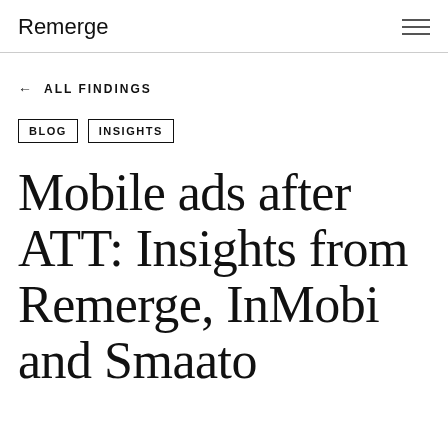Remerge
← ALL FINDINGS
BLOG   INSIGHTS
Mobile ads after ATT: Insights from Remerge, InMobi and Smaato